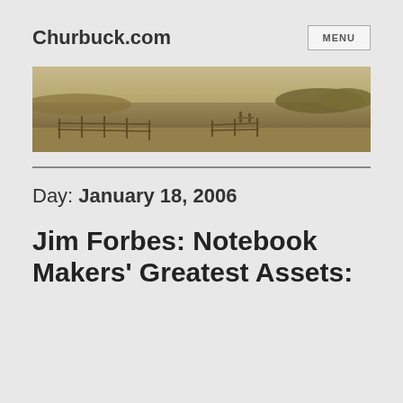Churbuck.com
[Figure (photo): Sepia-toned panoramic photograph of a coastal or lake waterway scene with a wooden fence in the foreground, water, and distant treeline.]
Day: January 18, 2006
Jim Forbes: Notebook Makers' Greatest Assets: